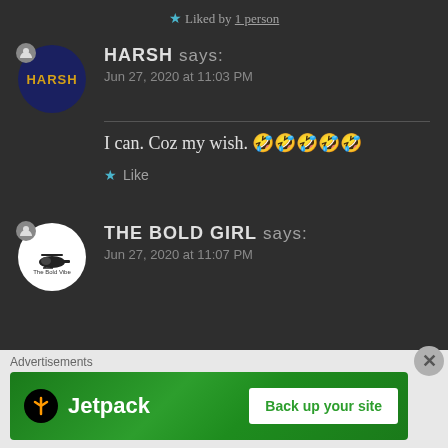★ Liked by 1 person
HARSH says: Jun 27, 2020 at 11:03 PM
I can. Coz my wish. 🤣🤣🤣🤣🤣
★ Like
THE BOLD GIRL says: Jun 27, 2020 at 11:07 PM
Advertisements
[Figure (other): Jetpack advertisement banner with 'Back up your site' button]